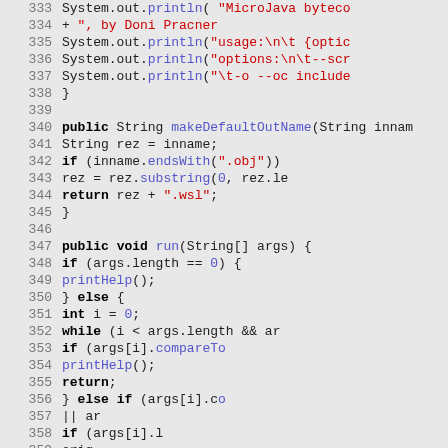[Figure (screenshot): Java source code editor view showing lines 333-365 with syntax highlighting. Keywords in bold, strings in red, function names and numbers in blue/purple, on a light gray background.]